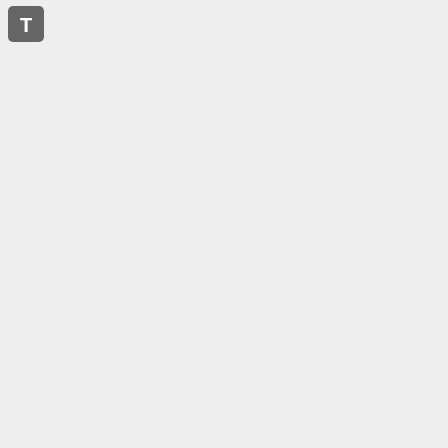[Figure (screenshot): T icon button in top-left corner]
| Icon | Code | Description |
| --- | --- | --- |
| [bubble icon] | %ICON{bubble}% | Speech bubble |
| [bug icon] | %ICON{bug}% | Bug |
| [calculator icon] | %ICON{calculator}% | Calculator |
|  | %ICON{chart-bar}% | Bar chart |
|  | %ICON{chart-pie}% | Pie chart |
|  | %ICON{clipboard}% | Clipboard |
| [clock icon] | %ICON{clock}% | Clock |
|  | %ICON{color-wheel}% | Color wheel |
| [color-wheel icon] | %ICON{color-wheel-bg}% | Color wheel transparent |
|  | %ICON{comments}% | Comments |
| [connections icon] | %ICON{connections}% | Connections |
|  | %ICON{control-panel}% | Control panel |
|  | %ICON{counter}% | Counter |
|  | %ICON{dashboard}% | Dashboard |